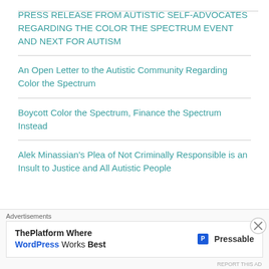PRESS RELEASE FROM AUTISTIC SELF-ADVOCATES REGARDING THE COLOR THE SPECTRUM EVENT AND NEXT FOR AUTISM
An Open Letter to the Autistic Community Regarding Color the Spectrum
Boycott Color the Spectrum, Finance the Spectrum Instead
Alek Minassian's Plea of Not Criminally Responsible is an Insult to Justice and All Autistic People
Advertisements
ThePlatform Where WordPress Works Best  P Pressable